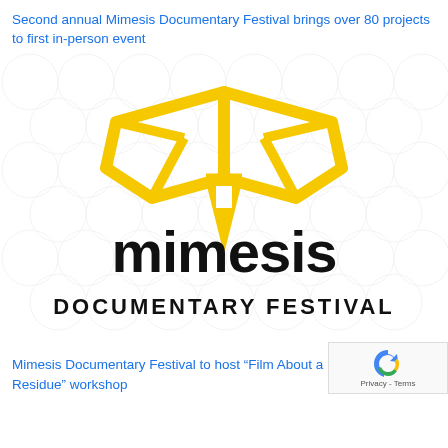Second annual Mimesis Documentary Festival brings over 80 projects to first in-person event
[Figure (logo): Mimesis Documentary Festival logo: yellow geometric moth/butterfly icon above black stylized text 'mimesis' and bold text 'DOCUMENTARY FESTIVAL', on white background with faint grey geometric pattern]
Mimesis Documentary Festival to host “Film About a Father” and “Day Residue” workshop